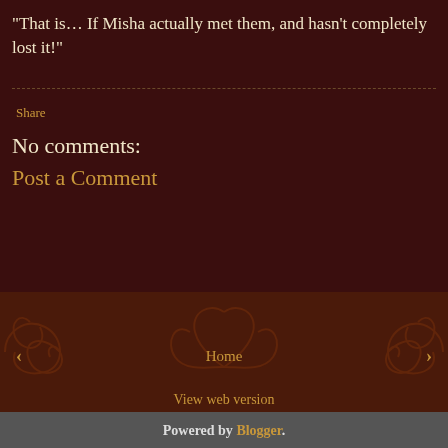"That is… If Misha actually met them, and hasn't completely lost it!"
Share
No comments:
Post a Comment
◄  Home  ►
View web version
Powered by Blogger.